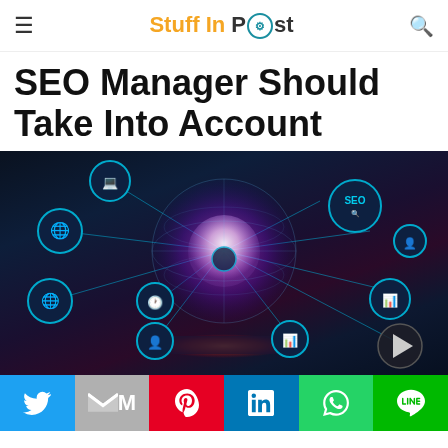Stuff In POst
SEO Manager Should Take Into Account
[Figure (photo): Person holding a tablet with a glowing holographic globe displaying SEO network icons including web, analytics, SEO labels, connected by network lines on a dark blue background]
Social share buttons: Twitter, Gmail, Pinterest, LinkedIn, WhatsApp, Line